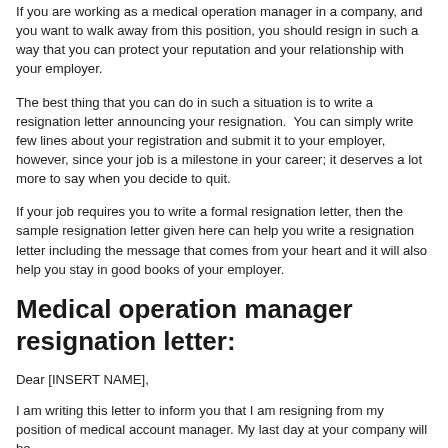If you are working as a medical operation manager in a company, and you want to walk away from this position, you should resign in such a way that you can protect your reputation and your relationship with your employer.
The best thing that you can do in such a situation is to write a resignation letter announcing your resignation.  You can simply write few lines about your registration and submit it to your employer, however, since your job is a milestone in your career; it deserves a lot more to say when you decide to quit.
If your job requires you to write a formal resignation letter, then the sample resignation letter given here can help you write a resignation letter including the message that comes from your heart and it will also help you stay in good books of your employer.
Medical operation manager resignation letter:
Dear [INSERT NAME],
I am writing this letter to inform you that I am resigning from my position of medical account manager. My last day at your company will be